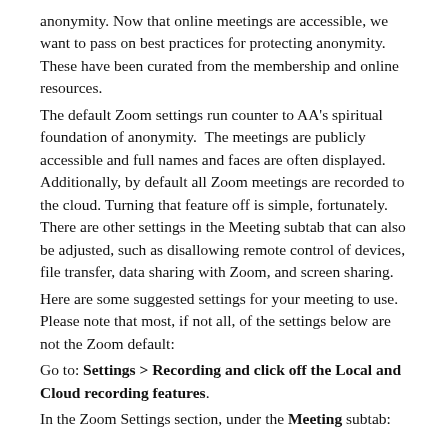anonymity. Now that online meetings are accessible, we want to pass on best practices for protecting anonymity. These have been curated from the membership and online resources.
The default Zoom settings run counter to AA's spiritual foundation of anonymity.  The meetings are publicly accessible and full names and faces are often displayed. Additionally, by default all Zoom meetings are recorded to the cloud. Turning that feature off is simple, fortunately. There are other settings in the Meeting subtab that can also be adjusted, such as disallowing remote control of devices, file transfer, data sharing with Zoom, and screen sharing.
Here are some suggested settings for your meeting to use. Please note that most, if not all, of the settings below are not the Zoom default:
Go to: Settings > Recording and click off the Local and Cloud recording features.
In the Zoom Settings section, under the Meeting subtab: